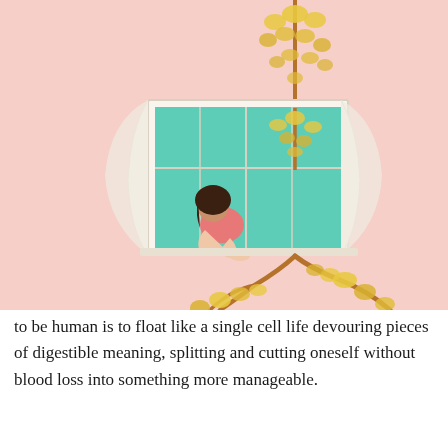[Figure (illustration): A soft pink-background illustration of a girl sitting on a window sill with white curtains, looking up at yellow forsythia flower branches growing through and around the window. The branches extend above and below the window frame.]
to be human is to float like a single cell life devouring pieces of digestible meaning, splitting and cutting oneself without blood loss into something more manageable.